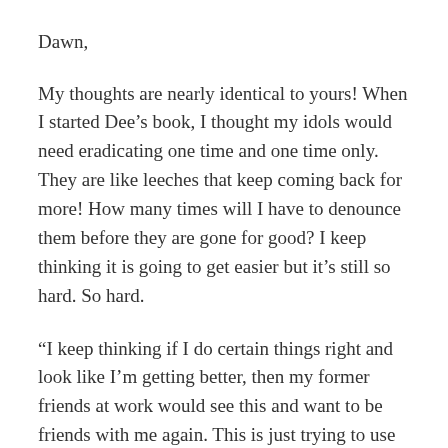Dawn,
My thoughts are nearly identical to yours! When I started Dee’s book, I thought my idols would need eradicating one time and one time only. They are like leeches that keep coming back for more! How many times will I have to denounce them before they are gone for good? I keep thinking it is going to get easier but it’s still so hard. So hard.
“I keep thinking if I do certain things right and look like I’m getting better, then my former friends at work would see this and want to be friends with me again. This is just trying to use God, therapy and drugs to try to keep my idol on the pedestal.” Oh my gosh, can I relate! I’ve tried to “manage” my idols